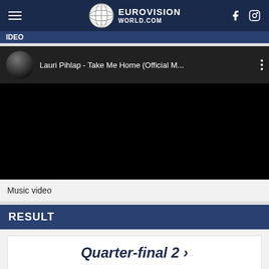EUROVISION WORLD.COM
Lauri Pihlap - Take Me Home (Official M...
Music video
RESULT
Quarter-final 2 →